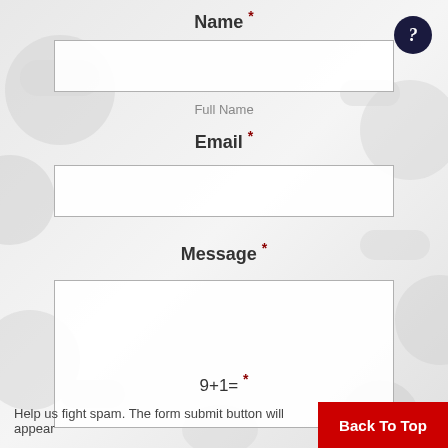Name *
[Figure (other): Empty text input field for name]
Full Name
Email *
[Figure (other): Empty text input field for email]
Message *
[Figure (other): Empty textarea for message]
9+1=  *
Help us fight spam. The form submit button will appear
[Figure (other): Back To Top red button]